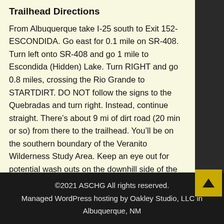Trailhead Directions
From Albuquerque take I-25 south to Exit 152-ESCONDIDA. Go east for 0.1 mile on SR-408. Turn left onto SR-408 and go 1 mile to Escondida (Hidden) Lake. Turn RIGHT and go 0.8 miles, crossing the Rio Grande to STARTDIRT. DO NOT follow the signs to the Quebradas and turn right. Instead, continue straight. There’s about 9 mi of dirt road (20 min or so) from there to the trailhead. You’ll be on the southern boundary of the Veranito Wilderness Study Area. Keep an eye out for potential wash outs on the downhill side of the road. Go generally northeast. When you come to a tattered sign “5”, that’s WSMR P Route 5.
©2021 ASCHG All rights reserved.
Managed WordPress hosting by Oakley Studio, LLC in Albuquerque, NM